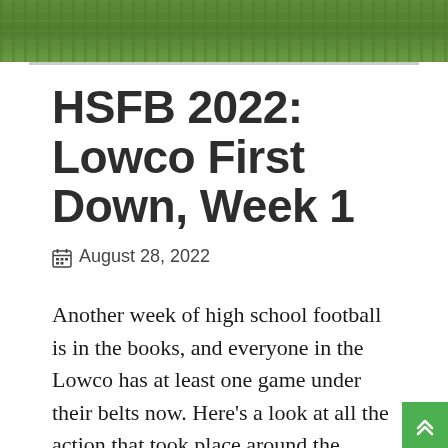[Figure (photo): Green football field grass visible at the top of the page as a banner image]
HSFB 2022: Lowco First Down, Week 1
August 28, 2022
Another week of high school football is in the books, and everyone in the Lowco has at least one game under their belts now. Here's a look at all the action that took place around the Lowco on